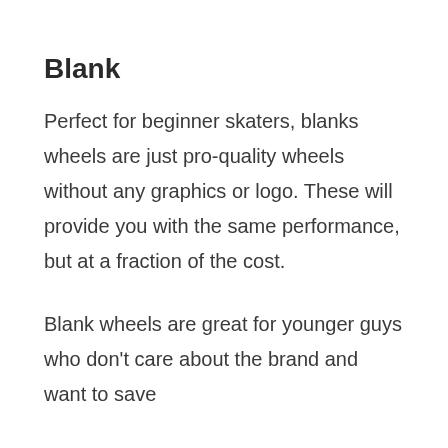Blank
Perfect for beginner skaters, blanks wheels are just pro-quality wheels without any graphics or logo. These will provide you with the same performance, but at a fraction of the cost.
Blank wheels are great for younger guys who don't care about the brand and want to save